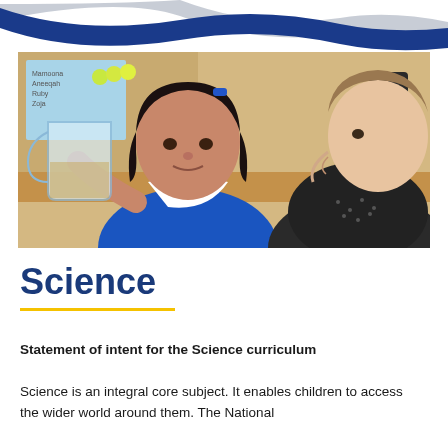[Figure (illustration): Decorative page header with two wavy bands: one dark navy blue and one light grey, overlapping at the top of the page]
[Figure (photo): A young girl in a blue school uniform holding a transparent jug/beaker, engaged in a science activity. An adult woman (teacher) is smiling and watching her. There is a classroom background with colourful labels/posters.]
Science
Statement of intent for the Science curriculum
Science is an integral core subject. It enables children to access the wider world around them. The National